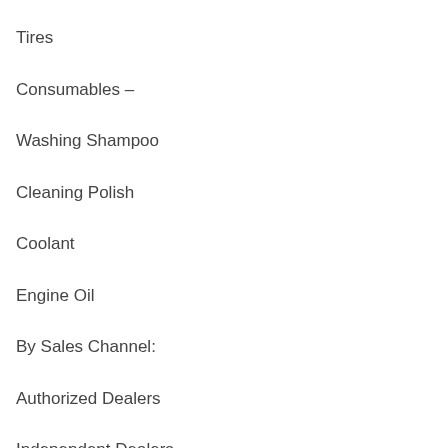Tires
Consumables –
Washing Shampoo
Cleaning Polish
Coolant
Engine Oil
By Sales Channel:
Authorized Dealers
Independent Dealers